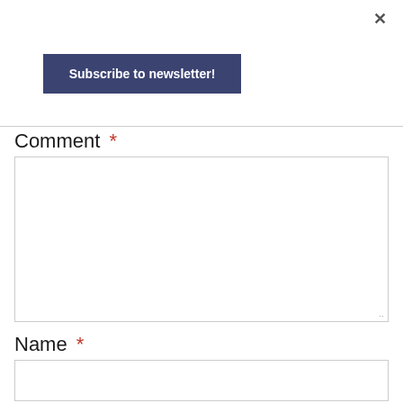×
Subscribe to newsletter!
Comment *
Name *